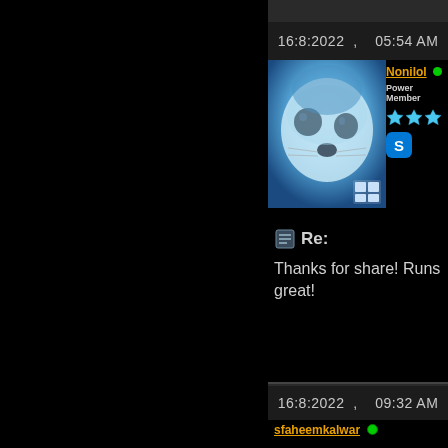16:8:2022 ,    05:54 AM
Nonilol (online) - Power Member
[Figure (photo): Close-up photo of a baby seal with blue tones, with a grid/gallery icon overlay in bottom right]
Re:
Thanks for share! Runs great!
16:8:2022 ,    09:32 AM
sfaheemkalwar (online) - Junior Member
Re:
Thank you guys for working so